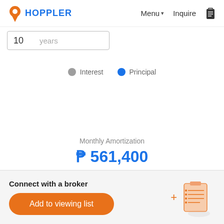HOPPLER  Menu  Inquire
10  years
[Figure (infographic): Legend showing Interest (gray dot) and Principal (blue dot)]
Monthly Amortization
₱ 561,400
Connect with a broker
Add to viewing list